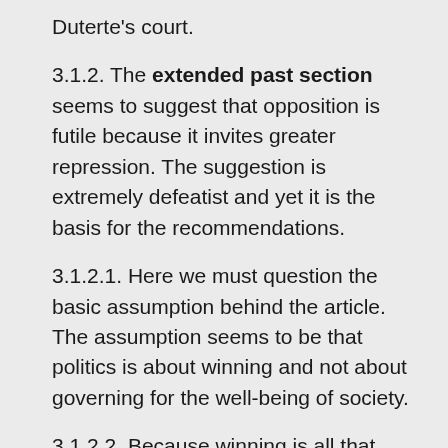Duterte's court.
3.1.2. The extended past section seems to suggest that opposition is futile because it invites greater repression. The suggestion is extremely defeatist and yet it is the basis for the recommendations.
3.1.2.1. Here we must question the basic assumption behind the article. The assumption seems to be that politics is about winning and not about governing for the well-being of society.
3.1.2.2. Because winning is all that matters, the view that politics is amoral is perpetuated. Matters of right and wrong do